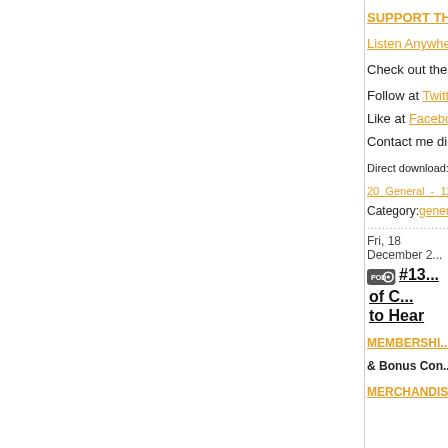SUPPORT TH...
Listen Anywhe...
Check out the
Follow at Twitt...
Like at Facebo...
Contact me dir...
Direct download: 13...
20_General_-_12-2...
Category: general --
Fri, 18 December 2...
#13... of C... to Hear
MEMBERSHI...
& Bonus Con...
MERCHANDIS...